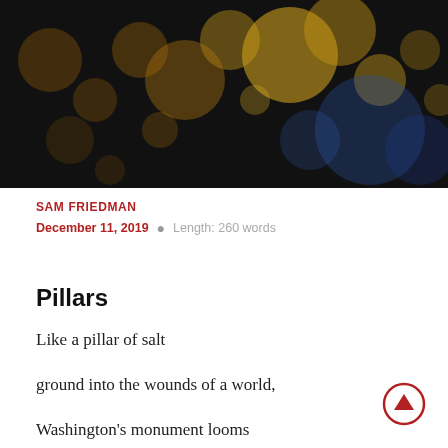[Figure (photo): Bokeh background photo with yellow and blue circular light blurs on dark background]
SAM FRIEDMAN
December 11, 2019 • Length: 260 words
Pillars
Like a pillar of salt

ground into the wounds of a world,

Washington's monument looms

like a shade over Capital's America